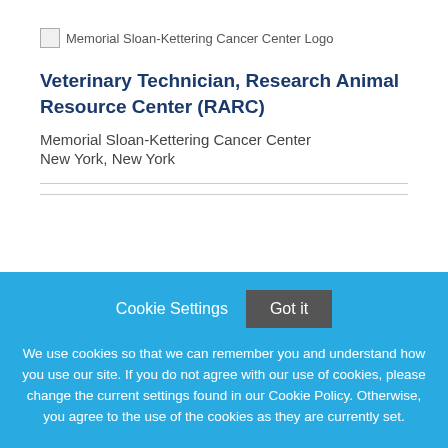[Figure (logo): Memorial Sloan-Kettering Cancer Center Logo placeholder image with alt text]
Veterinary Technician, Research Animal Resource Center (RARC)
Memorial Sloan-Kettering Cancer Center
New York, New York
Cookie Settings  Got it

We use cookies so that we can remember you and understand how you use our site. If you do not agree with our use of cookies, please change the current settings found in our Cookie Policy. Otherwise, you agree to the use of the cookies as they are currently set.